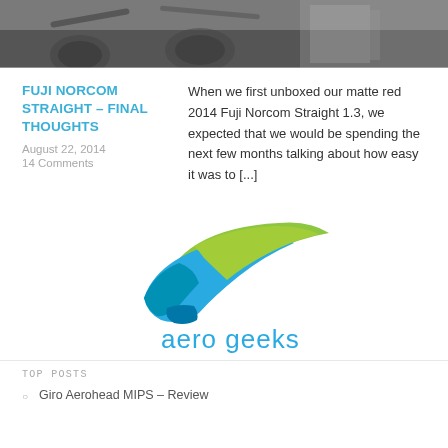[Figure (photo): Black and white photo of bicycles/cycling equipment at top of page]
FUJI NORCOM STRAIGHT – FINAL THOUGHTS
August 22, 2014
14 Comments
When we first unboxed our matte red 2014 Fuji Norcom Straight 1.3, we expected that we would be spending the next few months talking about how easy it was to [...]
[Figure (logo): Aero Geeks logo — stylized bird/wave design in blue and green with text 'aero geeks' in blue below]
TOP POSTS
Giro Aerohead MIPS – Review